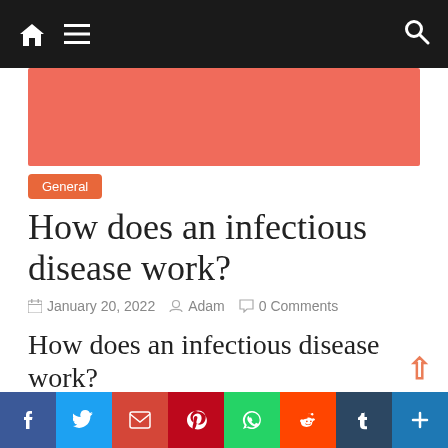Navigation bar with home icon, menu icon, and search icon
[Figure (illustration): Red/salmon colored banner/advertisement area]
General
How does an infectious disease work?
January 20, 2022  Adam  0 Comments
How does an infectious disease work?
An infectious disease is preceded by an infection (contamination) with pathogens. These penetrate the [body] and [colonize] and [multiply] there. [They] can be transmitted from one organism to another
[Figure (illustration): Social media share buttons bar: Facebook, Twitter, Email, Pinterest, WhatsApp, Reddit, Tumblr, Add]